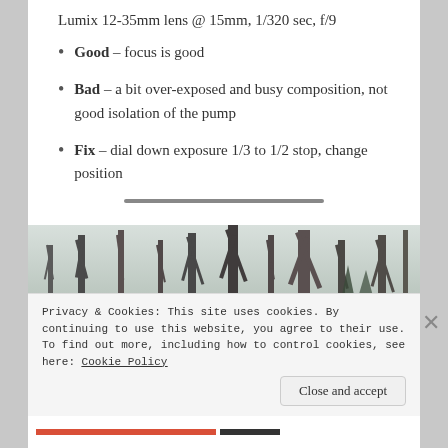Lumix 12-35mm lens @ 15mm, 1/320 sec, f/9
Good – focus is good
Bad – a bit over-exposed and busy composition, not good isolation of the pump
Fix – dial down exposure 1/3 to 1/2 stop, change position
[Figure (photo): Outdoor photograph showing bare winter trees against a light sky, landscape orientation]
Privacy & Cookies: This site uses cookies. By continuing to use this website, you agree to their use. To find out more, including how to control cookies, see here: Cookie Policy